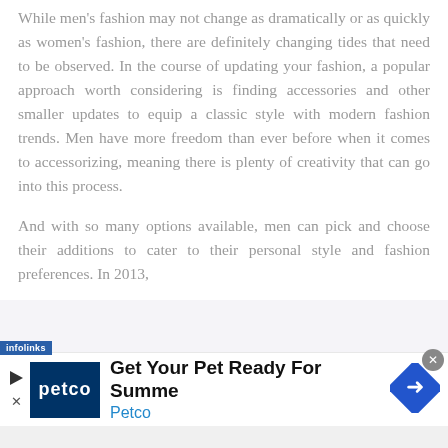While men's fashion may not change as dramatically or as quickly as women's fashion, there are definitely changing tides that need to be observed. In the course of updating your fashion, a popular approach worth considering is finding accessories and other smaller updates to equip a classic style with modern fashion trends. Men have more freedom than ever before when it comes to accessorizing, meaning there is plenty of creativity that can go into this process.
And with so many options available, men can pick and choose their additions to cater to their personal style and fashion preferences. In 2013,
[Figure (screenshot): Infolinks ad label bar (blue) followed by a Petco advertisement banner showing logo, 'Get Your Pet Ready For Summe' headline, 'Petco' subtext in blue, and a blue diamond arrow icon. A close (x) button appears in top-right.]